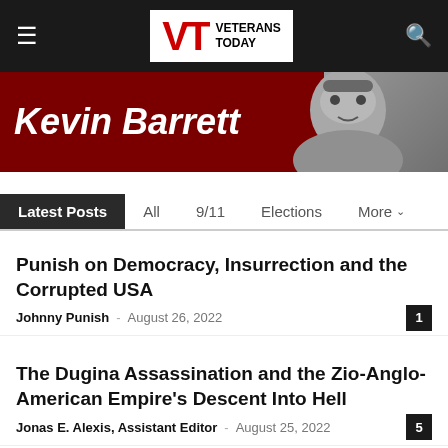Veterans Today
[Figure (photo): Kevin Barrett hero banner with dark red background and author name in white bold italic text, with a black-and-white photo of a man]
Latest Posts | All | 9/11 | Elections | More
Punish on Democracy, Insurrection and the Corrupted USA
Johnny Punish – August 26, 2022 [1 comment]
The Dugina Assassination and the Zio-Anglo-American Empire's Descent Into Hell
Jonas E. Alexis, Assistant Editor – August 25, 2022 [5 comments]
From Pandemic by Manmade SARS-Cov-2 to Remote Controlled Brain Synchronization: Pandemic...